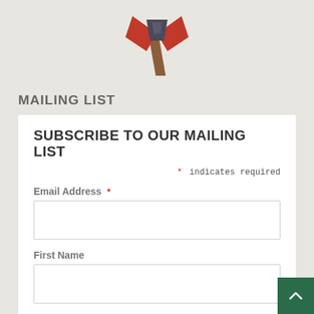[Figure (illustration): Partial illustration of an axe with red and brown colors at the top of the page]
MAILING LIST
SUBSCRIBE TO OUR MAILING LIST
* indicates required
Email Address *
First Name
Last Name